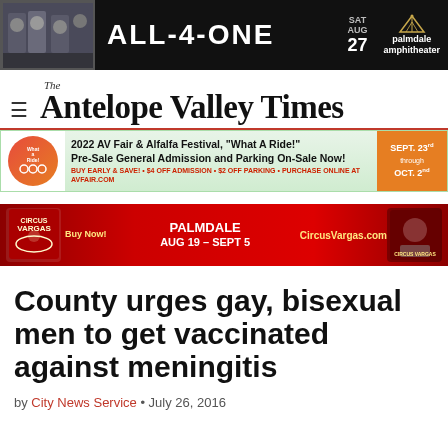[Figure (illustration): ALL-4-ONE concert advertisement banner. Black background with photo of band members, text 'ALL-4-ONE', date 'SAT AUG 27', and Palmdale Amphitheater logo.]
The Antelope Valley Times
[Figure (illustration): 2022 AV Fair & Alfalfa Festival 'What A Ride!' advertisement banner. Pre-Sale General Admission and Parking On-Sale Now! BUY EARLY & SAVE! • $4 OFF ADMISSION • $2 OFF PARKING • PURCHASE ONLINE AT AVFAIR.COM. Dates: SEPT. 23rd through OCT. 2nd]
[Figure (illustration): Circus Vargas advertisement banner. Red background. PALMDALE AUG 19 - SEPT 5, CircusVargas.com]
County urges gay, bisexual men to get vaccinated against meningitis
by City News Service • July 26, 2016